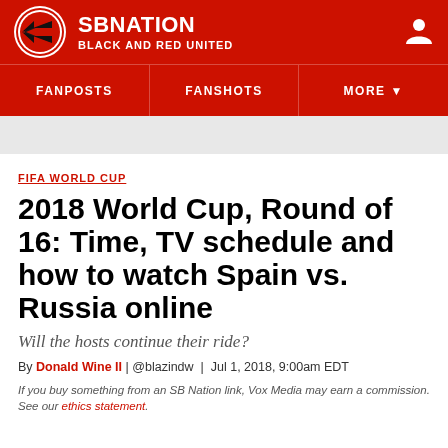SB NATION / BLACK AND RED UNITED
FANPOSTS | FANSHOTS | MORE
FIFA WORLD CUP
2018 World Cup, Round of 16: Time, TV schedule and how to watch Spain vs. Russia online
Will the hosts continue their ride?
By Donald Wine II | @blazindw | Jul 1, 2018, 9:00am EDT
If you buy something from an SB Nation link, Vox Media may earn a commission. See our ethics statement.